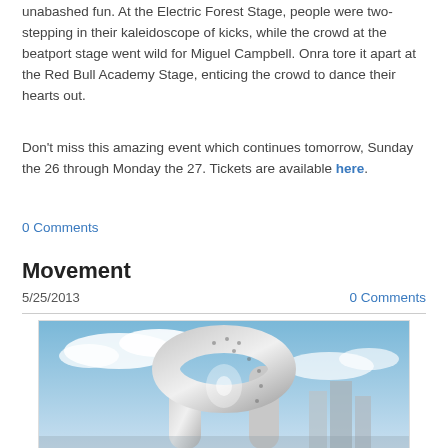unabashed fun. At the Electric Forest Stage, people were two-stepping in their kaleidoscope of kicks, while the crowd at the beatport stage went wild for Miguel Campbell. Onra tore it apart at the Red Bull Academy Stage, enticing the crowd to dance their hearts out.
Don't miss this amazing event which continues tomorrow, Sunday the 26 through Monday the 27. Tickets are available here.
0 Comments
Movement
5/25/2013
0 Comments
[Figure (photo): Photograph of a large metallic sculptural arch structure against a blue sky with clouds, with sunlight visible through the arch and tall buildings in the background.]